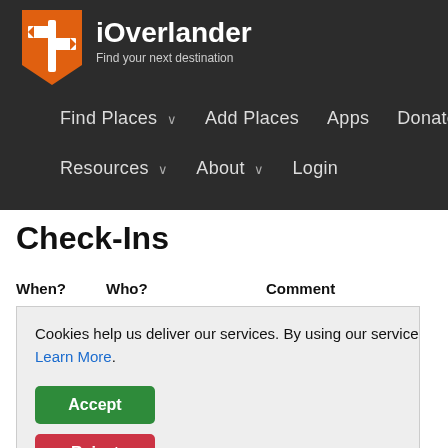[Figure (logo): iOverlander website header with orange shield logo containing directional signs icon, site name iOverlander and tagline Find your next destination]
Find Places | Add Places | Apps | Donate | Resources | About | Login
Check-Ins
| When? | Who? | Comment |
| --- | --- | --- |
Cookies help us deliver our services. By using our services, you agree to our use of cookies. Learn More.
Accept
Reject